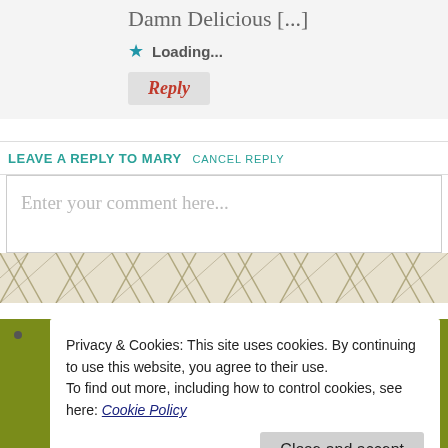Damn Delicious [...]
★ Loading...
Reply
LEAVE A REPLY TO MARY CANCEL REPLY
Enter your comment here...
[Figure (illustration): Decorative diagonal stripe pattern in cream/tan colors]
Privacy & Cookies: This site uses cookies. By continuing to use this website, you agree to their use.
To find out more, including how to control cookies, see here: Cookie Policy
Close and accept
Powered by WordPress.com